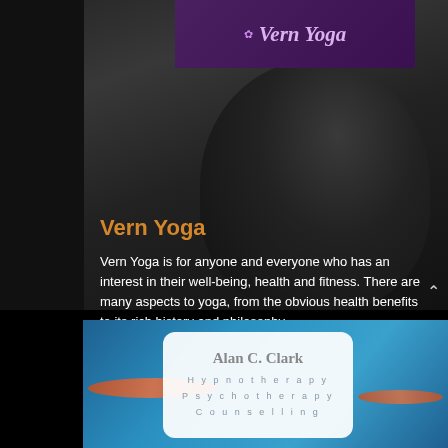[Figure (logo): Vern Yoga logo banner with purple background, yoga icon, and stylized italic text]
[Figure (photo): Black and white photo of a woman in yoga pose wearing a hat]
Vern Yoga
Vern Yoga is for anyone and everyone who has an interest in their well-being, health and fitness. There are many aspects to yoga, from the obvious health benefits to its rich history and philosophy.
[Figure (photo): Blue water background with koi fish, and a white card for Alan C. Clark Hypnotherapy Psychotherapy Counselling]